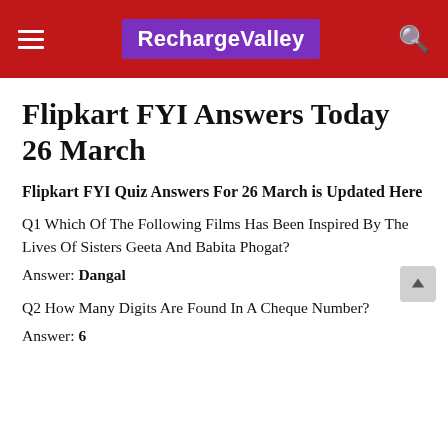RechargeValley
Flipkart FYI Answers Today 26 March
Flipkart FYI Quiz Answers For 26 March is Updated Here
Q1 Which Of The Following Films Has Been Inspired By The Lives Of Sisters Geeta And Babita Phogat?
Answer: Dangal
Q2 How Many Digits Are Found In A Cheque Number?
Answer: 6